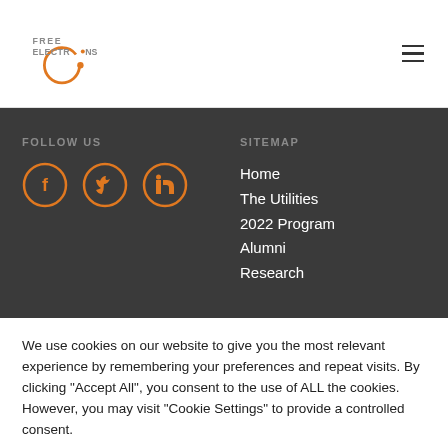Free Electrons logo and hamburger menu
FOLLOW US
[Figure (illustration): Social media icons: Facebook, Twitter, LinkedIn in orange circles]
SITEMAP
Home
The Utilities
2022 Program
Alumni
Research
We use cookies on our website to give you the most relevant experience by remembering your preferences and repeat visits. By clicking "Accept All", you consent to the use of ALL the cookies. However, you may visit "Cookie Settings" to provide a controlled consent.
Cookie Settings | Accept All